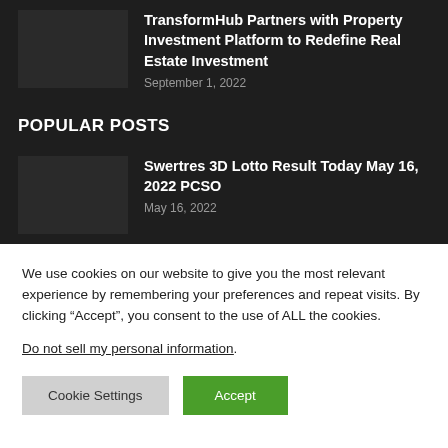TransformHub Partners with Property Investment Platform to Redefine Real Estate Investment
September 1, 2022
POPULAR POSTS
Swertres 3D Lotto Result Today May 16, 2022 PCSO
May 16, 2022
We use cookies on our website to give you the most relevant experience by remembering your preferences and repeat visits. By clicking “Accept”, you consent to the use of ALL the cookies.
Do not sell my personal information.
Cookie Settings
Accept